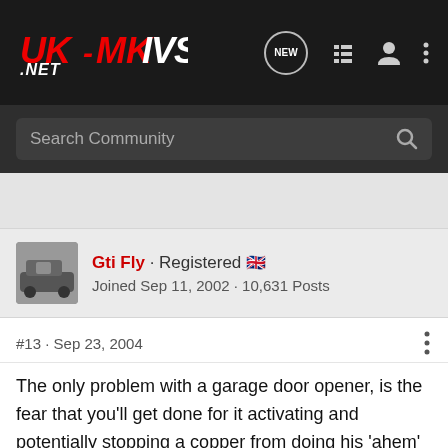UK-MKIVS.NET
Search Community
Gti Fly · Registered
Joined Sep 11, 2002 · 10,631 Posts
#13 · Sep 23, 2004
The only problem with a garage door opener, is the fear that you'll get done for it activating and potentially stopping a copper from doing his 'ahem' job.